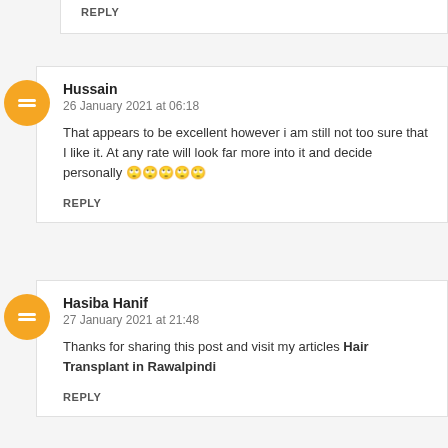REPLY
Hussain
26 January 2021 at 06:18
That appears to be excellent however i am still not too sure that I like it. At any rate will look far more into it and decide personally 🙄🙄🙄🙄🙄
REPLY
Hasiba Hanif
27 January 2021 at 21:48
Thanks for sharing this post and visit my articles Hair Transplant in Rawalpindi
REPLY